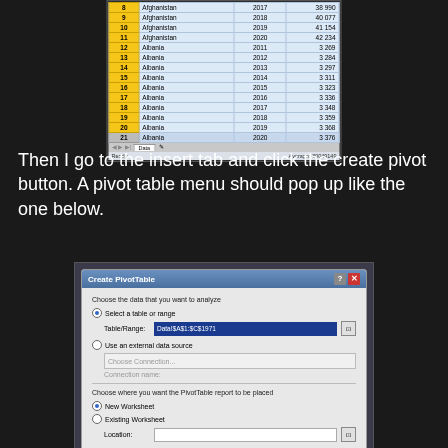[Figure (screenshot): Excel spreadsheet showing rows 8-21 with country data: Afghanistan (2018-2020) and Albania (2011-2020) with numeric values. Bottom shows sheet tab 'Data' and status bar with 'Average: 30049149'.]
Then I go to the insert tab and click the create pivot button. A pivot table menu should pop up like the one below.
[Figure (screenshot): Create PivotTable dialog box showing options to select a table or range (Table/Range: Data!$A$1:$C$1971), use an external data source, and choose where to place the PivotTable report (New Worksheet or Existing Worksheet). OK and Cancel buttons at bottom.]